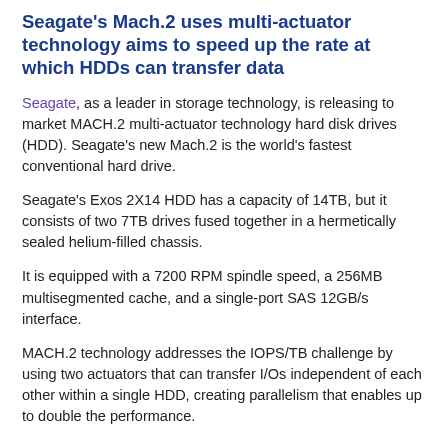Seagate's Mach.2 uses multi-actuator technology aims to speed up the rate at which HDDs can transfer data
Seagate, as a leader in storage technology, is releasing to market MACH.2 multi-actuator technology hard disk drives (HDD). Seagate's new Mach.2 is the world's fastest conventional hard drive.
Seagate's Exos 2X14 HDD has a capacity of 14TB, but it consists of two 7TB drives fused together in a hermetically sealed helium-filled chassis.
It is equipped with a 7200 RPM spindle speed, a 256MB multisegmented cache, and a single-port SAS 12GB/s interface.
MACH.2 technology addresses the IOPS/TB challenge by using two actuators that can transfer I/Os independent of each other within a single HDD, creating parallelism that enables up to double the performance.